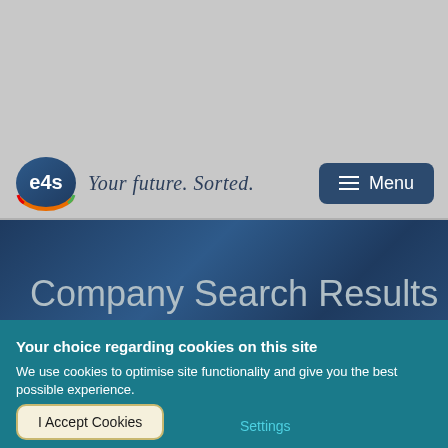[Figure (logo): e4s logo oval shape with e4s text, tagline 'Your future. Sorted.']
Menu
Company Search Results
Your choice regarding cookies on this site
We use cookies to optimise site functionality and give you the best possible experience.
I Accept Cookies
Settings